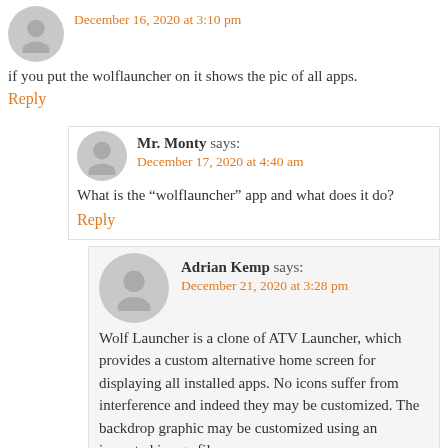[Figure (illustration): User avatar silhouette icon (gray circle with person outline)]
December 16, 2020 at 3:10 pm
if you put the wolflauncher on it shows the pic of all apps.
Reply
[Figure (illustration): User avatar silhouette icon for Mr. Monty]
Mr. Monty says:
December 17, 2020 at 4:40 am
What is the “wolflauncher” app and what does it do?
Reply
[Figure (illustration): User avatar silhouette icon for Adrian Kemp]
Adrian Kemp says:
December 21, 2020 at 3:28 pm
Wolf Launcher is a clone of ATV Launcher, which provides a custom alternative home screen for displaying all installed apps. No icons suffer from interference and indeed they may be customized. The backdrop graphic may be customized using an imported image file.
Apps can be organized in nameable categories or even hidden (if never used or to be kept secret)